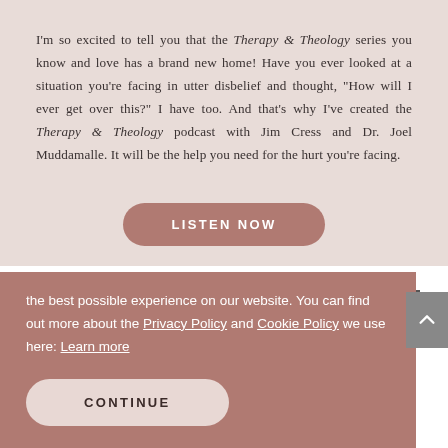I'm so excited to tell you that the Therapy & Theology series you know and love has a brand new home! Have you ever looked at a situation you're facing in utter disbelief and thought, "How will I ever get over this?" I have too. And that's why I've created the Therapy & Theology podcast with Jim Cress and Dr. Joel Muddamalle. It will be the help you need for the hurt you're facing.
[Figure (other): LISTEN NOW button - rounded rectangle button with dark rose/mauve background]
[Figure (logo): Lysa TerKeurst logo with decorative leaf/branch element above the text]
[Figure (other): Hamburger menu icon (three horizontal lines)]
the best possible experience on our website. You can find out more about the Privacy Policy and Cookie Policy we use here: Learn more
[Figure (other): CONTINUE button - rounded rectangle with light pink background, dark text]
I was ready to have a good cry by